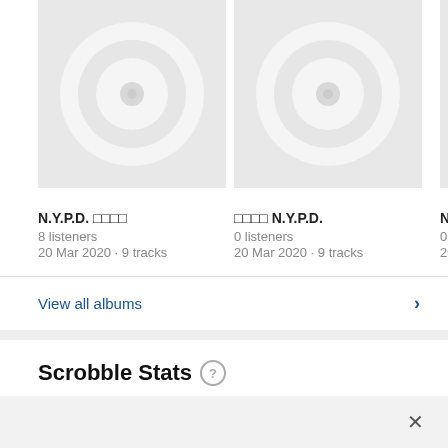[Figure (illustration): Album cover placeholder with grey background and white CD/disc icon - N.Y.P.D. album]
[Figure (illustration): Album cover placeholder with grey background and white CD/disc icon - second N.Y.P.D. album]
[Figure (illustration): Partially visible third album cover placeholder]
N.Y.P.D. □□□□
8 listeners
20 Mar 2020 · 9 tracks
□□□□ N.Y.P.D.
0 listeners
20 Mar 2020 · 9 tracks
N.Y.
0 list
20 Ja
View all albums
Scrobble Stats
Recent Listening Trend